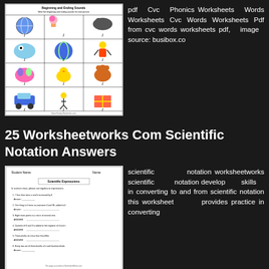[Figure (illustration): Beginning and Ending Sounds phonics worksheet with a 3x4 grid of illustrated pictures showing items with the letter 'i', each cell containing a picture and the letter i below it.]
pdf Cvc Phonics Worksheets Words Worksheets Cvc Words Worksheets Pdf from cvc words worksheets pdf, image source: busibox.co
25 Worksheetworks Com Scientific Notation Answers
[Figure (illustration): Scientific notation worksheet showing 'Scientific Expressions' with practice problems for converting numbers to and from scientific notation.]
scientific notation worksheetworks scientific notation develop skills in converting to and from scientific notation this worksheet provides practice in converting large and decimal values between real and scientific notation